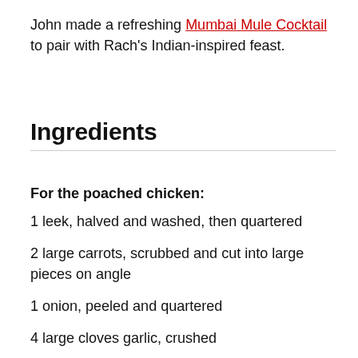John made a refreshing Mumbai Mule Cocktail to pair with Rach's Indian-inspired feast.
Ingredients
For the poached chicken:
1 leek, halved and washed, then quartered
2 large carrots, scrubbed and cut into large pieces on angle
1 onion, peeled and quartered
4 large cloves garlic, crushed
2 large bay leaves
1 inch ginger root, sliced